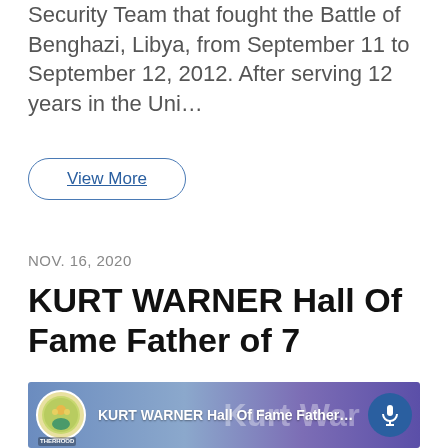Security Team that fought the Battle of Benghazi, Libya, from September 11 to September 12, 2012. After serving 12 years in the Uni…
View More
NOV. 16, 2020
KURT WARNER Hall Of Fame Father of 7
[Figure (screenshot): Podcast thumbnail showing Kurt Warner's face with text 'KURT WARNER Hall Of Fame Father' and a microphone icon circle, with 'THERHOOD' branding]